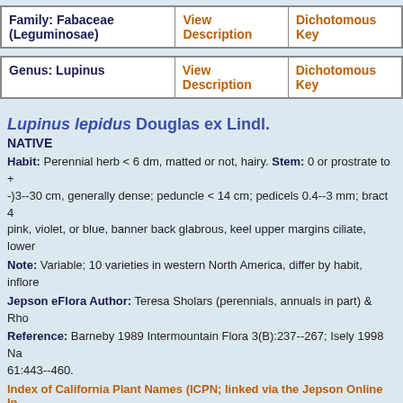| Family: Fabaceae (Leguminosae) | View Description | Dichotomous Key |
| --- | --- | --- |
| Genus: Lupinus | View Description | Dichotomous Key |
| --- | --- | --- |
Lupinus lepidus Douglas ex Lindl.
NATIVE
Habit: Perennial herb < 6 dm, matted or not, hairy. Stem: 0 or prostrate to + -)3--30 cm, generally dense; peduncle < 14 cm; pedicels 0.4--3 mm; bract 4 pink, violet, or blue, banner back glabrous, keel upper margins ciliate, lower...
Note: Variable; 10 varieties in western North America, differ by habit, inflore...
Jepson eFlora Author: Teresa Sholars (perennials, annuals in part) & Rho...
Reference: Barneby 1989 Intermountain Flora 3(B):237--267; Isely 1998 Na... 61:443--460.
Index of California Plant Names (ICPN; linked via the Jepson Online In...
List of species
Previous taxon: Lupinus latifolius var. viridifolius
Next taxon: Lupinus lepidus var. aridus
Name Search
Submit Name